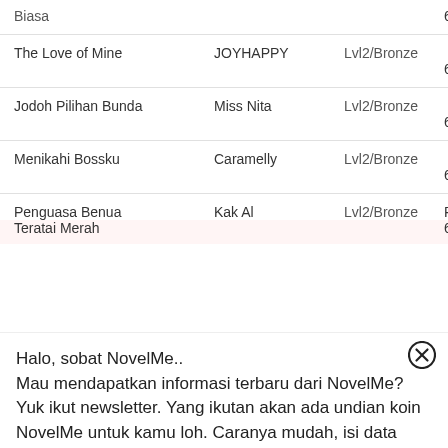| Title | Author | Level | Price |
| --- | --- | --- | --- |
|  |  |  | 600,00 |
| The Love of Mine | JOYHAPPY | Lvl2/Bronze | Rp 600,00 |
| Jodoh Pilihan Bunda | Miss Nita | Lvl2/Bronze | Rp 600,00 |
| Menikahi Bossku | Caramelly | Lvl2/Bronze | Rp 600,00 |
| Penguasa Benua Teratai Merah | Kak Al | Lvl2/Bronze | Rp 600,00 |
Halo, sobat NovelMe..
Mau mendapatkan informasi terbaru dari NovelMe? Yuk ikut newsletter. Yang ikutan akan ada undian koin NovelMe untuk kamu loh. Caranya mudah, isi data kamu dibawah ini, klik "Daftar". Setelah itu konfirmasi pendaftaran kamu di email yang kamu daftarkan tadi. Mudah kan? ayo ikutan...